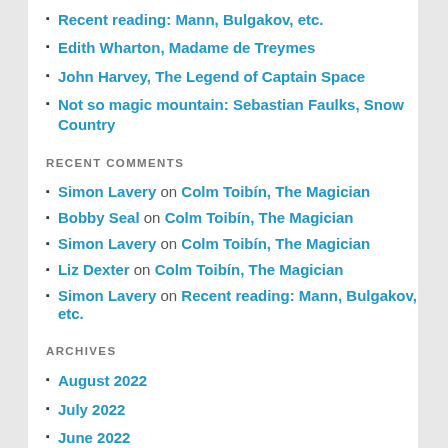Recent reading: Mann, Bulgakov, etc.
Edith Wharton, Madame de Treymes
John Harvey, The Legend of Captain Space
Not so magic mountain: Sebastian Faulks, Snow Country
RECENT COMMENTS
Simon Lavery on Colm Toibín, The Magician
Bobby Seal on Colm Toibín, The Magician
Simon Lavery on Colm Toibín, The Magician
Liz Dexter on Colm Toibín, The Magician
Simon Lavery on Recent reading: Mann, Bulgakov, etc.
ARCHIVES
August 2022
July 2022
June 2022
May 2022
April 2022